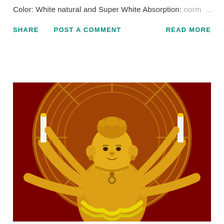Color: White natural and Super White Absorption: norm ...
SHARE   POST A COMMENT   READ MORE
[Figure (photo): Golden multi-armed Hindu/Buddhist deity statue with ornate crown and halo, adorned with yellow flower garlands, set against a dark red background. The golden statue shows intricate detailing with multiple arms holding various objects.]